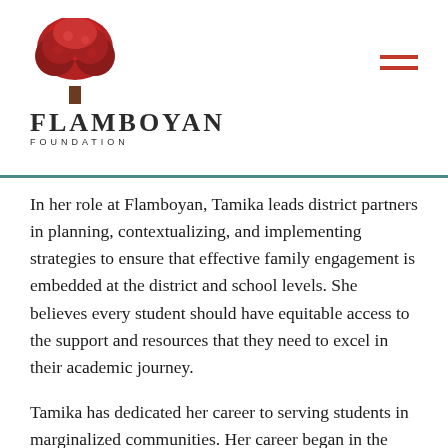Flamboyan Foundation
In her role at Flamboyan, Tamika leads district partners in planning, contextualizing, and implementing strategies to ensure that effective family engagement is embedded at the district and school levels. She believes every student should have equitable access to the support and resources that they need to excel in their academic journey.
Tamika has dedicated her career to serving students in marginalized communities. Her career began in the non-profit sector providing wraparound services and case management to at-risk youth, where she built strategic partnerships with community stakeholders to provide support to families and students throughout Maryland. That role led to teaching in at-risk schools